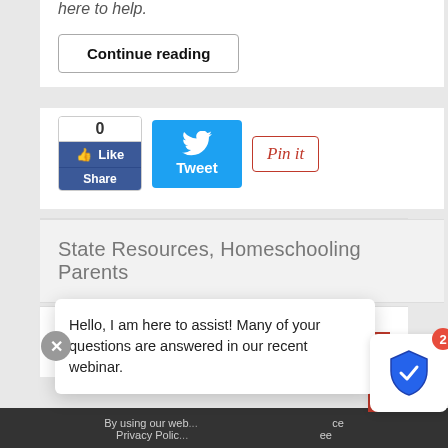here to help.
Continue reading
[Figure (screenshot): Social sharing buttons: Facebook Like/Share with count 0, Twitter Tweet button, and Pinterest Pin it button]
State Resources, Homeschooling Parents
[Figure (screenshot): White content block area]
Hello, I am here to assist! Many of your questions are answered in our recent webinar.
By using our web... Privacy Polic...